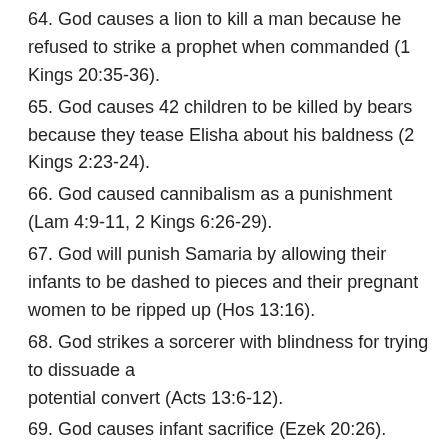64. God causes a lion to kill a man because he refused to strike a prophet when commanded (1 Kings 20:35-36).
65. God causes 42 children to be killed by bears because they tease Elisha about his baldness (2 Kings 2:23-24).
66. God caused cannibalism as a punishment (Lam 4:9-11, 2 Kings 6:26-29).
67. God will punish Samaria by allowing their infants to be dashed to pieces and their pregnant women to be ripped up (Hos 13:16).
68. God strikes a sorcerer with blindness for trying to dissuade a potential convert (Acts 13:6-12).
69. God causes infant sacrifice (Ezek 20:26).
70. God is a “man of war” and causes war